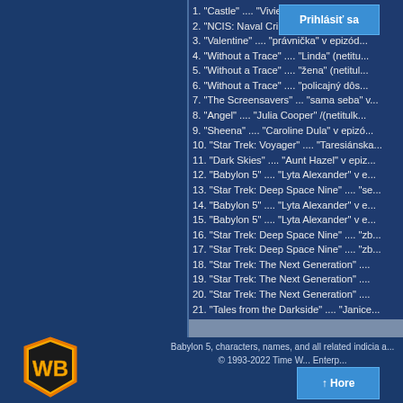1. "Castle" .... "Vivie... (
2. "NCIS: Naval Crin... 'e
3. "Valentine" .... "právnička" v epizód...
4. "Without a Trace" .... "Linda" (netitu...
5. "Without a Trace" .... "žena" (netitul...
6. "Without a Trace" .... "policajný dôs...
7. "The Screensavers" ... "sama seba" v...
8. "Angel" .... "Julia Cooper" /(netitulk...
9. "Sheena" .... "Caroline Dula" v epizó...
10. "Star Trek: Voyager" .... "Taresiánska...
11. "Dark Skies" .... "Aunt Hazel" v epiz...
12. "Babylon 5" .... "Lyta Alexander" v e...
13. "Star Trek: Deep Space Nine" .... "se...
14. "Babylon 5" .... "Lyta Alexander" v e...
15. "Babylon 5" .... "Lyta Alexander" v e...
16. "Star Trek: Deep Space Nine" .... "zb...
17. "Star Trek: Deep Space Nine" .... "zb...
18. "Star Trek: The Next Generation" ....
19. "Star Trek: The Next Generation" ....
20. "Star Trek: The Next Generation" ....
21. "Tales from the Darkside" .... "Janice...
Babylon 5, characters, names, and all related indicia a... © 1993-2022 Time W... Enterp...
Prihlásiť sa
↑ Hore